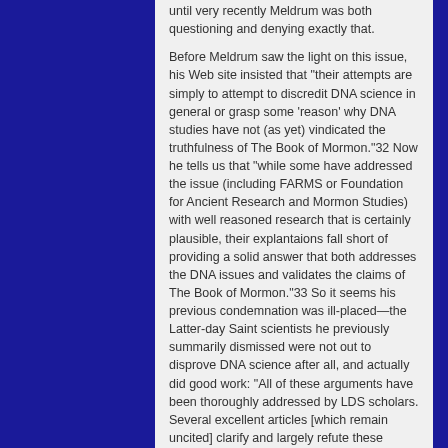until very recently Meldrum was both questioning and denying exactly that.
Before Meldrum saw the light on this issue, his Web site insisted that "their attempts are simply to attempt to discredit DNA science in general or grasp some 'reason' why DNA studies have not (as yet) vindicated the truthfulness of The Book of Mormon."32 Now he tells us that "while some have addressed the issue (including FARMS or Foundation for Ancient Research and Mormon Studies) with well reasoned research that is certainly plausible, their explantaions fall short of providing a solid answer that both addresses the DNA issues and validates the claims of The Book of Mormon."33 So it seems his previous condemnation was ill-placed—the Latter-day Saint scientists he previously summarily dismissed were not out to disprove DNA science after all, and actually did good work: "All of these arguments have been thoroughly addressed by LDS scholars. Several excellent articles [which remain uncited] clarify and largely refute these